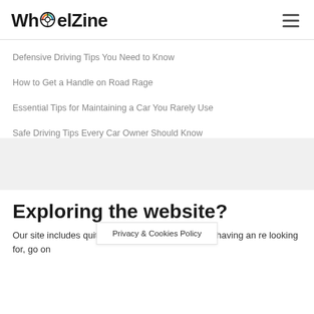WheelZine
Defensive Driving Tips You Need to Know
How to Get a Handle on Road Rage
Essential Tips for Maintaining a Car You Rarely Use
Safe Driving Tips Every Car Owner Should Know
Exploring the website?
Our site includes quite a bit of content, so if you’re having an [difficulty finding] what you’re looking for, go on
Privacy & Cookies Policy